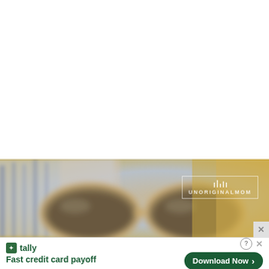[Figure (photo): Blurred photo of gold-framed aviator sunglasses resting on a striped blue and white fabric background with warm golden tones on the right side. A watermark reading 'UNORIGINALMOM' with decorative dots above is overlaid in the upper right area of the image.]
[Figure (photo): Advertisement banner for Tally app. Green Tally logo icon on left, text 'Fast credit card payoff', and a green 'Download Now' button with arrow on right. Info circle and X close button above the download button.]